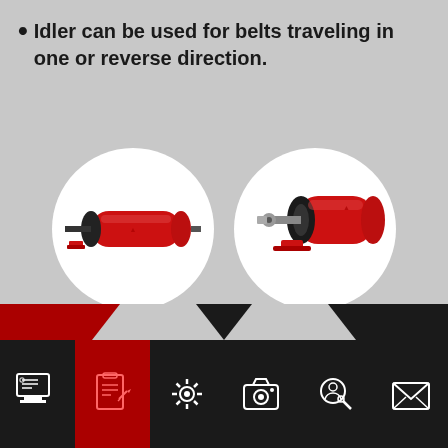Idler can be used for belts traveling in one or reverse direction.
[Figure (photo): Two circular inset photos showing a red industrial idler roller component from different angles — one showing the full roller lengthwise, one showing the end/mount detail]